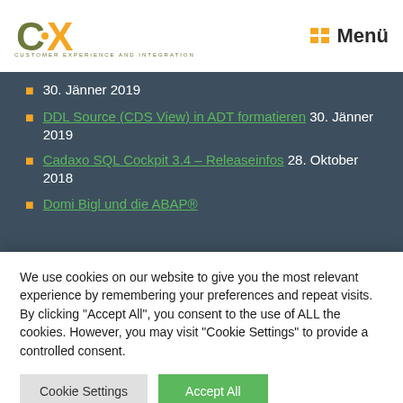[Figure (logo): CX logo with 'C' in olive green and 'X' in orange, with tagline CUSTOMER EXPERIENCE AND INTEGRATION]
Menü
30. Jänner 2019
DDL Source (CDS View) in ADT formatieren 30. Jänner 2019
Cadaxo SQL Cockpit 3.4 – Releaseinfos 28. Oktober 2018
Domi Bigl und die ABAP®
We use cookies on our website to give you the most relevant experience by remembering your preferences and repeat visits. By clicking "Accept All", you consent to the use of ALL the cookies. However, you may visit "Cookie Settings" to provide a controlled consent.
Cookie Settings
Accept All